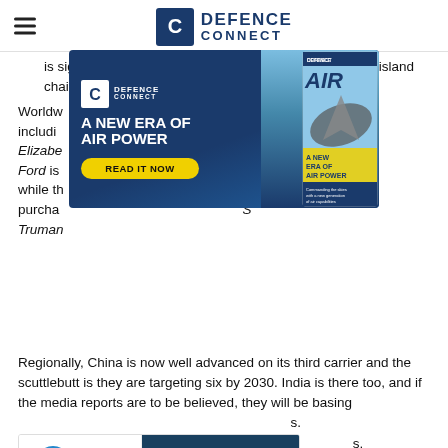Defence Connect
is significantly more extensive than the entire Japanese island chain.
Worldwide ... ships, including ... ween Elizabeth ... d R Ford is ... , even while th... purcha... S Truman...
[Figure (advertisement): Defence Connect Air Power magazine ad with blue background, magazine cover showing jet aircraft, and yellow READ IT NOW button]
Regionally, China is now well advanced on its third carrier and the scuttlebutt is they are targeting six by 2030. India is there too, and if the media reports are to be believed, they will be basing ...ss.
[Figure (advertisement): ECA Group make sure advertisement with logo and underwater drone image]
Japan h... ...on power projection ...